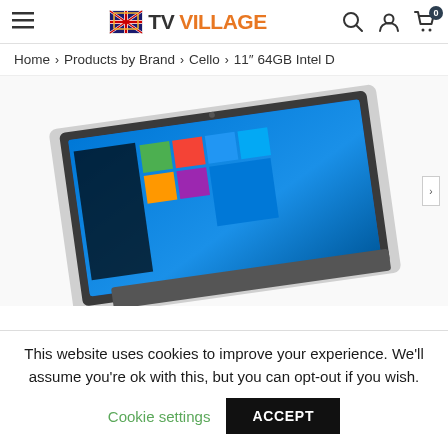TV VILLAGE — navigation header with hamburger menu, logo, search, account, and cart icons
Home › Products by Brand › Cello › 11" 64GB Intel D
[Figure (photo): Product photo of a Cello 11 inch white laptop open showing Windows 10 interface on screen, viewed from a slight angle.]
This website uses cookies to improve your experience. We'll assume you're ok with this, but you can opt-out if you wish.
Cookie settings   ACCEPT